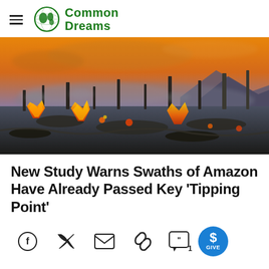Common Dreams
[Figure (photo): Aerial view of Amazon deforestation with fires burning in the foreground against a dramatic orange and purple sunset sky, charred tree stumps and smoke visible across the landscape]
New Study Warns Swaths of Amazon Have Already Passed Key 'Tipping Point'
[Figure (infographic): Social sharing icons row: Facebook, Twitter, Email, Link, Comments (1), and GIVE button]